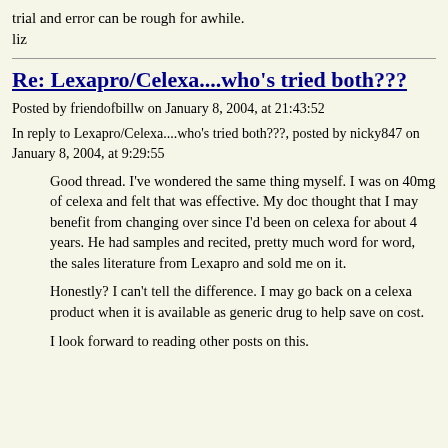trial and error can be rough for awhile.
liz
Re: Lexapro/Celexa....who's tried both???
Posted by friendofbillw on January 8, 2004, at 21:43:52
In reply to Lexapro/Celexa....who's tried both???, posted by nicky847 on January 8, 2004, at 9:29:55
Good thread. I've wondered the same thing myself. I was on 40mg of celexa and felt that was effective. My doc thought that I may benefit from changing over since I'd been on celexa for about 4 years. He had samples and recited, pretty much word for word, the sales literature from Lexapro and sold me on it.
Honestly? I can't tell the difference. I may go back on a celexa product when it is available as generic drug to help save on cost.
I look forward to reading other posts on this.